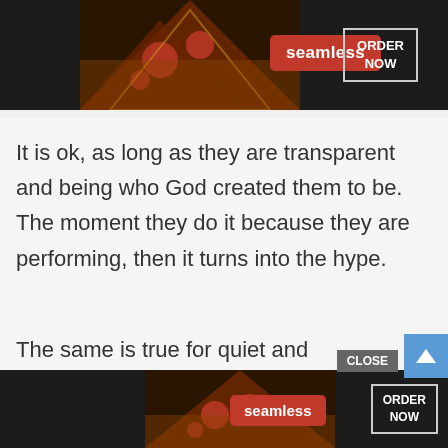[Figure (screenshot): Seamless food delivery advertisement banner at top with pizza image, seamless logo in red, and ORDER NOW button]
feathers do not get ruffled.
It is ok, as long as they are transparent and being who God created them to be. The moment they do it because they are performing, then it turns into the hype.
The same is true for quiet and introspective people. I get along great with them. I don't try to change them. They are being who the
cre
to l
[Figure (screenshot): Seamless food delivery advertisement banner at bottom with pizza image, seamless logo in red, ORDER NOW button, and CLOSE button]